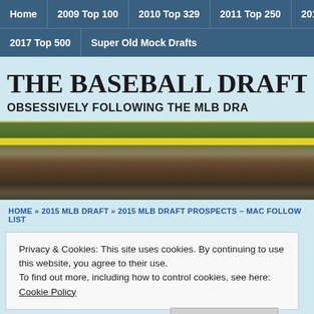Home | 2009 Top 100 | 2010 Top 329 | 2011 Top 250 | 2012... | 2017 Top 500 | Super Old Mock Drafts
THE BASEBALL DRAFT REPORT
OBSESSIVELY FOLLOWING THE MLB DRAFT
[Figure (photo): Banner image showing a baseball field with a yellow caution tape stripe across it]
HOME » 2015 MLB DRAFT » 2015 MLB DRAFT PROSPECTS – MAC FOLLOW LIST
Privacy & Cookies: This site uses cookies. By continuing to use this website, you agree to their use.
To find out more, including how to control cookies, see here: Cookie Policy
[Close and accept]